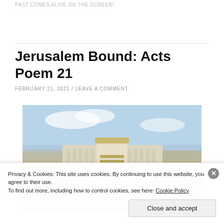PAST COMES ALIVE ON THE SCREEN!
Jerusalem Bound: Acts Poem 21
FEBRUARY 21, 2021 / LEAVE A COMMENT
[Figure (photo): Aerial view of an architectural scale model of ancient Jerusalem showing the Temple Mount and surrounding structures under a partly cloudy sky.]
Privacy & Cookies: This site uses cookies. By continuing to use this website, you agree to their use.
To find out more, including how to control cookies, see here: Cookie Policy
Close and accept